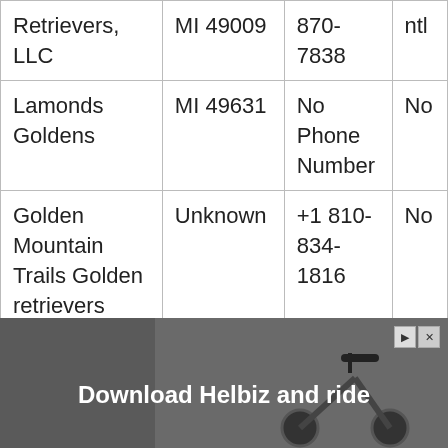| Name | Location | Phone | Licensed |
| --- | --- | --- | --- |
| Retrievers, LLC | MI 49009 | 870-7838 | ntl |
| Lamonds Goldens | MI 49631 | No Phone Number | No |
| Golden Mountain Trails Golden retrievers and Honey | Unknown | +1 810-834-1816 | No |
[Figure (photo): Advertisement banner for Helbiz scooter rental app showing a scooter with text 'Download Helbiz and ride'. Contains close and play buttons in the top right corner.]